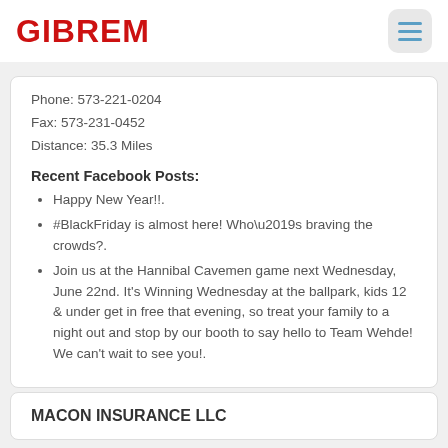GIBREM
Phone: 573-221-0204
Fax: 573-231-0452
Distance: 35.3 Miles
Recent Facebook Posts:
Happy New Year!!.
#BlackFriday is almost here! Who\u2019s braving the crowds?.
Join us at the Hannibal Cavemen game next Wednesday, June 22nd. It's Winning Wednesday at the ballpark, kids 12 & under get in free that evening, so treat your family to a night out and stop by our booth to say hello to Team Wehde! We can't wait to see you!.
MACON INSURANCE LLC